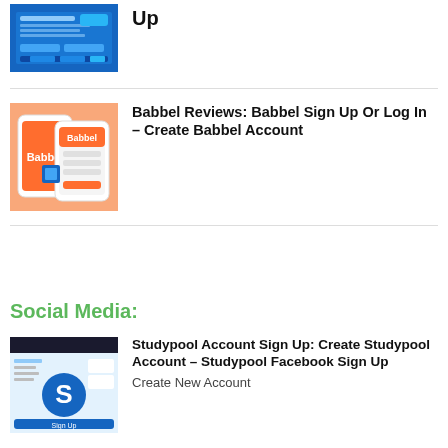[Figure (screenshot): Screenshot of a website with blue background, top of page cut off]
Up
[Figure (photo): Photo of a phone with Babbel app on orange background]
Babbel Reviews: Babbel Sign Up Or Log In – Create Babbel Account
Social Media:
[Figure (screenshot): Screenshot of Studypool website with blue/dark header and S logo]
Studypool Account Sign Up: Create Studypool Account – Studypool Facebook Sign Up
Create New Account